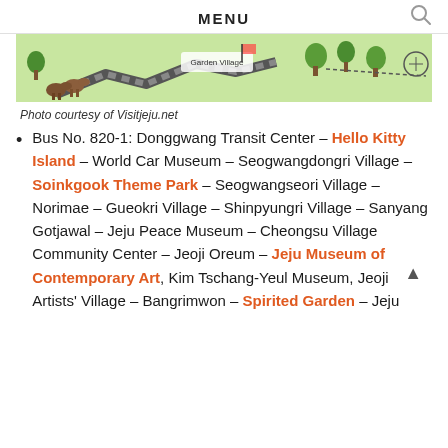MENU
[Figure (map): Illustrated map of Jeju island area showing roads, trees, horses, and Garden Village label]
Photo courtesy of Visitjeju.net
Bus No. 820-1: Donggwang Transit Center – Hello Kitty Island – World Car Museum – Seogwangdongri Village – Soinkgook Theme Park – Seogwangseori Village – Norimae – Gueokri Village – Shinpyungri Village – Sanyang Gotjawal – Jeju Peace Museum – Cheongsu Village Community Center – Jeoji Oreum – Jeju Museum of Contemporary Art, Kim Tschang-Yeul Museum, Jeoji Artists' Village – Bangrimwon – Spirited Garden – Jeju